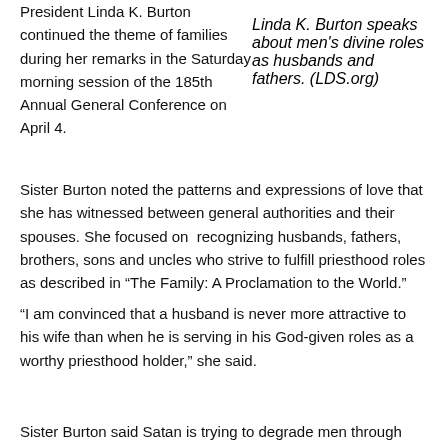Linda K. Burton speaks about men's divine roles as husbands and fathers. (LDS.org)
President Linda K. Burton continued the theme of families during her remarks in the Saturday morning session of the 185th Annual General Conference on April 4.
Sister Burton noted the patterns and expressions of love that she has witnessed between general authorities and their spouses. She focused on recognizing husbands, fathers, brothers, sons and uncles who strive to fulfill priesthood roles as described in “The Family: A Proclamation to the World.”
“I am convinced that a husband is never more attractive to his wife than when he is serving in his God-given roles as a worthy priesthood holder,” she said.
Sister Burton said Satan is trying to degrade men through